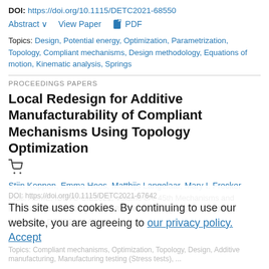DOI: https://doi.org/10.1115/DETC2021-68550
Abstract ∨   View Paper   📄 PDF
Topics: Design, Potential energy, Optimization, Parametrization, Topology, Compliant mechanisms, Design methodology, Equations of motion, Kinematic analysis, Springs
PROCEEDINGS PAPERS
Local Redesign for Additive Manufacturability of Compliant Mechanisms Using Topology Optimization
Stijn Koppen, Emma Hoes, Matthijs Langelaar, Mary I. Frecker
Proc. ASME. IDETC-CIE2021, Volume 8A: 45th Mechanisms and Robotics Conference (MR), V08AT08A002, August 17–19, 2021
Paper No: DETC2021-67642
This site uses cookies. By continuing to use our website, you are agreeing to our privacy policy. Accept